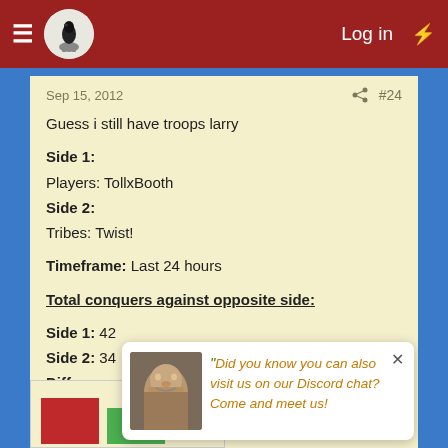Log in
Sep 15, 2012  #24
Guess i still have troops larry

Side 1:
Players: TollxBooth
Side 2:
Tribes: Twist!

Timeframe: Last 24 hours

Total conquers against opposite side:

Side 1: 42
Side 2: 34
Difference: 8
Did you know you can also visit us on our Discord chat? Come and meet us!